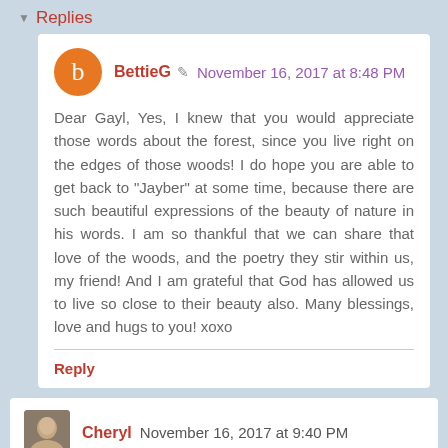Replies
BettieG  November 16, 2017 at 8:48 PM
Dear Gayl, Yes, I knew that you would appreciate those words about the forest, since you live right on the edges of those woods! I do hope you are able to get back to "Jayber" at some time, because there are such beautiful expressions of the beauty of nature in his words. I am so thankful that we can share that love of the woods, and the poetry they stir within us, my friend! And I am grateful that God has allowed us to live so close to their beauty also. Many blessings, love and hugs to you! xoxo
Reply
Cheryl  November 16, 2017 at 9:40 PM
Oh, sweet friend! I hear that call...that beckoning call that can only be spoken through His voice. It is compelling